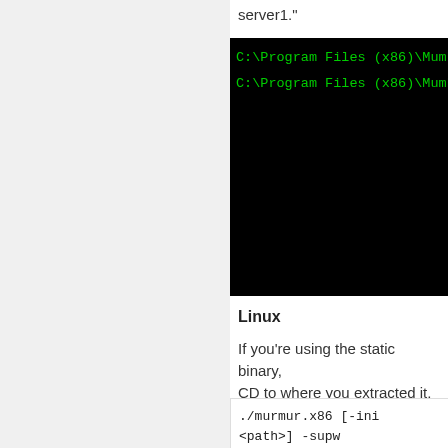server1."
[Figure (screenshot): Terminal window with black background showing two lines of green monospace text: 'C:\Program Files (x86)\Mumbl...' repeated twice]
Linux
If you're using the static binary, CD to where you extracted it, and run
./murmur.x86 [-ini <path>] -supw Password_of_your_choice